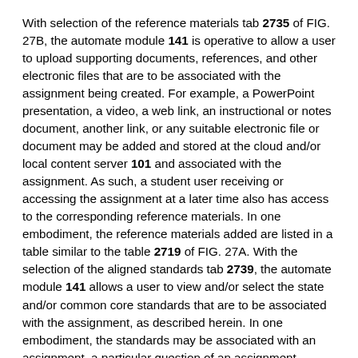With selection of the reference materials tab 2735 of FIG. 27B, the automate module 141 is operative to allow a user to upload supporting documents, references, and other electronic files that are to be associated with the assignment being created. For example, a PowerPoint presentation, a video, a web link, an instructional or notes document, another link, or any suitable electronic file or document may be added and stored at the cloud and/or local content server 101 and associated with the assignment. As such, a student user receiving or accessing the assignment at a later time also has access to the corresponding reference materials. In one embodiment, the reference materials added are listed in a table similar to the table 2719 of FIG. 27A. With the selection of the aligned standards tab 2739, the automate module 141 allows a user to view and/or select the state and/or common core standards that are to be associated with the assignment, as described herein. In one embodiment, the standards may be associated with an assignment, a particular question of an assignment, reference materials, or any other suitable document or data.
With the question/assignments tab 2737 selected as illustrated in FIG. 27C, the user is able to manage the questions that are included in the assignment. The assignment questions are listed in a table 2751 along with question information including, for example, the question number, the question (or shortened version of the question), the correct answer, the type of question, the point value associated with the question, and an edit link